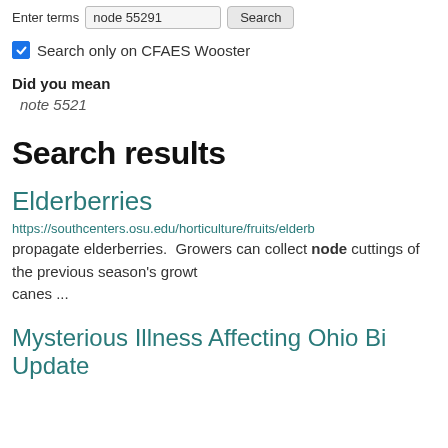Enter terms  node 55291  Search
Search only on CFAES Wooster
Did you mean
note 5521
Search results
Elderberries
https://southcenters.osu.edu/horticulture/fruits/eldb... propagate elderberries. Growers can collect node cuttings of the previous season's growth canes ...
Mysterious Illness Affecting Ohio Bi... Update